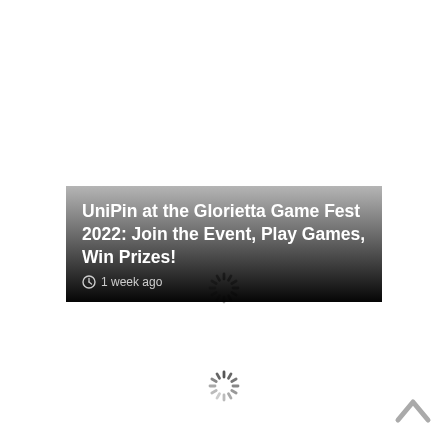[Figure (other): Loading spinner icon centered in upper portion of page]
[Figure (screenshot): Article card with gradient background showing title 'UniPin at the Glorietta Game Fest 2022: Join the Event, Play Games, Win Prizes!' and timestamp '1 week ago']
[Figure (other): Loading spinner icon centered in lower portion of page]
[Figure (other): Scroll-to-top chevron arrow button in bottom-right corner]